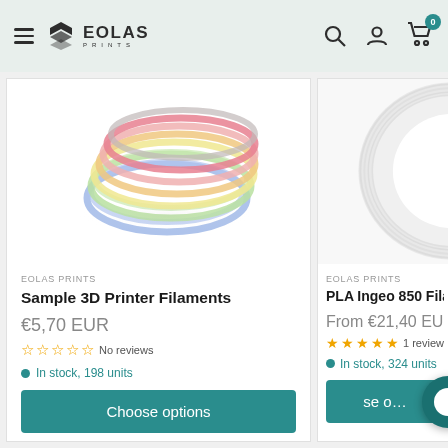Eolas Prints — Navigation header with logo, search, account, and cart (0 items)
[Figure (photo): Colorful sample 3D printer filament coils arranged in a stack — blue, green, yellow, orange, pink, red colors]
EOLAS PRINTS
Sample 3D Printer Filaments
€5,70 EUR
No reviews
In stock, 198 units
Choose options
[Figure (photo): White PLA filament spool, partially visible on the right side]
EOLAS PRINTS
PLA Ingeo 850 Filame…
From €21,40 EUR
1 review
In stock, 324 units
se o…